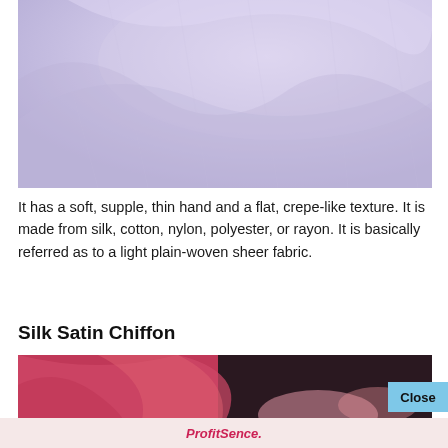[Figure (photo): Close-up photo of light lavender/purple chiffon fabric with soft folds and crepe-like texture]
It has a soft, supple, thin hand and a flat, crepe-like texture. It is made from silk, cotton, nylon, polyester, or rayon. It is basically referred as to a light plain-woven sheer fabric.
Silk Satin Chiffon
[Figure (photo): Close-up photo of red/coral silk satin chiffon fabric with soft folds]
ProfitSence.